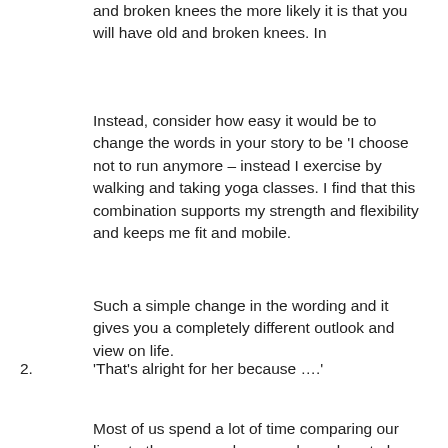and broken knees the more likely it is that you will have old and broken knees. In
Instead, consider how easy it would be to change the words in your story to be 'I choose not to run anymore – instead I exercise by walking and taking yoga classes. I find that this combination supports my strength and flexibility and keeps me fit and mobile.
Such a simple change in the wording and it gives you a completely different outlook and view on life.
2. 'That's alright for her because ….'
Most of us spend a lot of time comparing our lives to those around us – and we almost always fall short in the measuring process. When we dont measure up, we start finding ways to justify why someone has something, does something or has achieved something we havent – we look for their 'unfair advantage'.